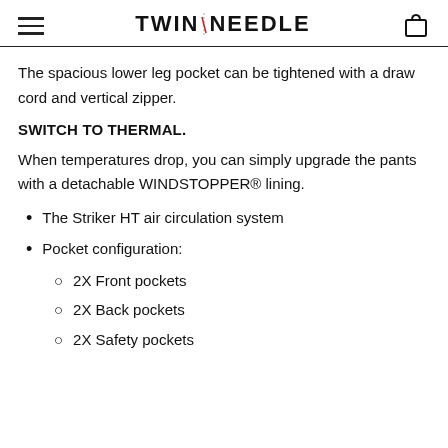TWIN NEEDLE
The spacious lower leg pocket can be tightened with a draw cord and vertical zipper.
SWITCH TO THERMAL.
When temperatures drop, you can simply upgrade the pants with a detachable WINDSTOPPER® lining.
The Striker HT air circulation system
Pocket configuration:
2X Front pockets
2X Back pockets
2X Safety pockets